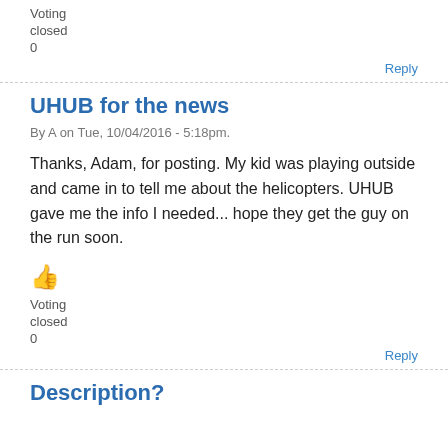Voting
closed
0
Reply
UHUB for the news
By A on Tue, 10/04/2016 - 5:18pm.
Thanks, Adam, for posting. My kid was playing outside and came in to tell me about the helicopters. UHUB gave me the info I needed... hope they get the guy on the run soon.
[Figure (illustration): Thumbs up emoji icon in orange/yellow color]
Voting
closed
0
Reply
Description?